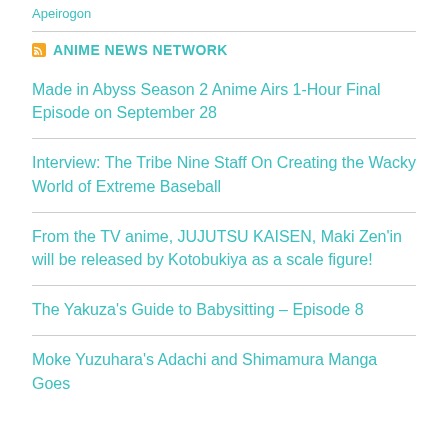Apeirogon
ANIME NEWS NETWORK
Made in Abyss Season 2 Anime Airs 1-Hour Final Episode on September 28
Interview: The Tribe Nine Staff On Creating the Wacky World of Extreme Baseball
From the TV anime, JUJUTSU KAISEN, Maki Zen'in will be released by Kotobukiya as a scale figure!
The Yakuza's Guide to Babysitting – Episode 8
Moke Yuzuhara's Adachi and Shimamura Manga Goes